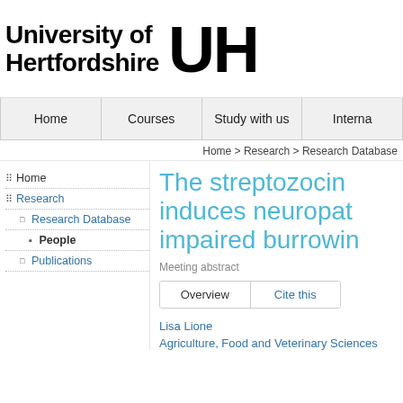[Figure (logo): University of Hertfordshire logo with UH monogram]
Home | Courses | Study with us | Interna
Home > Research > Research Database
Home
Research
Research Database
People
Publications
The streptozocin-induces neuropat-impaired burrowin
Meeting abstract
Overview   Cite this
Lisa Lione
Agriculture, Food and Veterinary Sciences